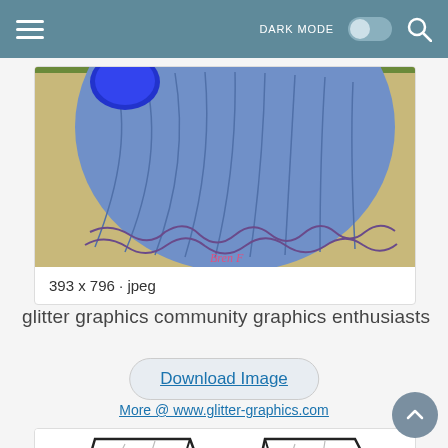DARK MODE toggle and search icon
[Figure (photo): Painting of a blue ruffled flamenco-style skirt on a yellow background, signed 'Bren F']
393 x 796 · jpeg
glitter graphics community graphics enthusiasts
Download Image
More @ www.glitter-graphics.com
[Figure (illustration): Line drawing outlines of flared skirts/clothing patterns on white background]